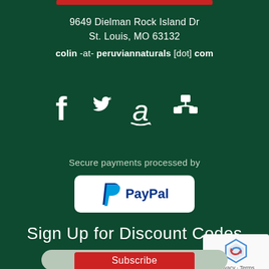9649 Dielman Rock Island Dr
St. Louis, MO 63132
colin -at- peruviannaturals [dot] com
[Figure (infographic): Social media icons: Facebook, Twitter, Amazon, and network/sitemap icon in white on dark green background]
Secure payments processed by
[Figure (logo): PayPal logo with blue P icon and PayPal wordmark on white rounded rectangle]
Sign Up for Discount Codes
Email Address
[Figure (other): reCAPTCHA badge with circular arrows icon and Privacy · Terms text]
Subscribe